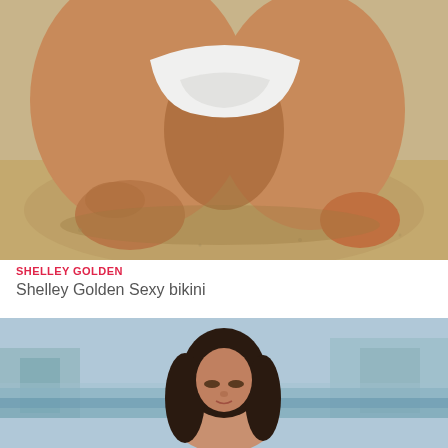[Figure (photo): Close-up photo of a person kneeling on sandy beach wearing a white bikini bottom, shot from torso down showing legs and sand in the foreground.]
SHELLEY GOLDEN
Shelley Golden Sexy bikini
[Figure (photo): Photo of a woman with long dark hair standing on a beach, blurred background showing ocean and coastal buildings.]